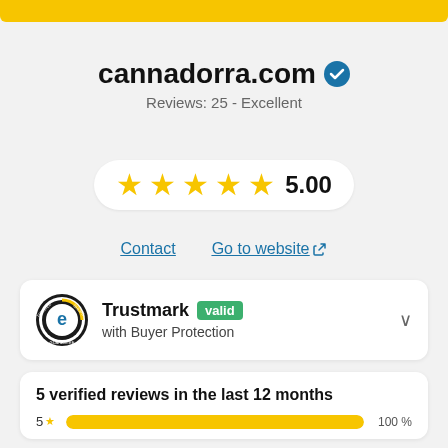[Figure (other): Yellow top bar (partial, cropped at top of page)]
cannadorra.com
Reviews: 25 - Excellent
[Figure (other): 5 yellow stars with score 5.00 in a white pill]
Contact   Go to website
[Figure (other): Trustmark card: Trusted Shops logo, Trustmark label with valid badge, with Buyer Protection text, chevron]
5 verified reviews in the last 12 months
[Figure (bar-chart): 5 star bar showing 100%]